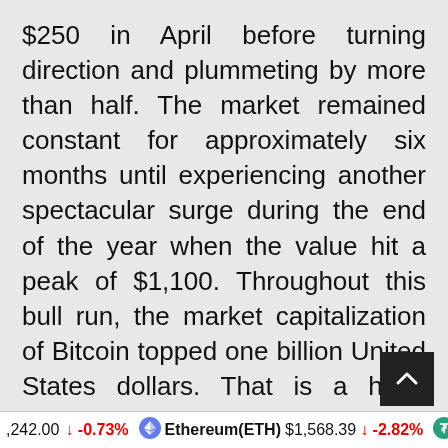$250 in April before turning direction and plummeting by more than half. The market remained constant for approximately six months until experiencing another spectacular surge during the end of the year when the value hit a peak of $1,100. Throughout this bull run, the market capitalization of Bitcoin topped one billion United States dollars. That is a huge accomplishment!

Additionally, the world's first Bitcoin ATM installed in Vancouver allowed customers to convert their physical money into virtual money with ease. Since then, many more Bitcoin ATMs
,242.00 ↓ -0.73% Ethereum(ETH) $1,568.39 ↓ -2.82% Tethe